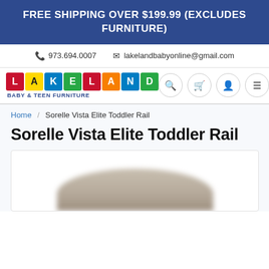FREE SHIPPING OVER $199.99 (EXCLUDES FURNITURE)
973.694.0007   lakelandbabyonline@gmail.com
[Figure (logo): Lakeland Baby & Teen Furniture logo with colorful letter blocks spelling LAKELAND]
Home / Sorelle Vista Elite Toddler Rail
Sorelle Vista Elite Toddler Rail
[Figure (photo): Partial blurred image of the Sorelle Vista Elite Toddler Rail product, showing a curved beige/tan rail piece]